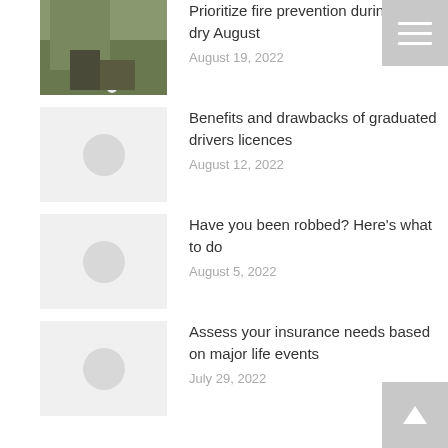[Figure (photo): Person outdoors with fire-related activity, backyard scene]
Prioritize fire prevention during a very dry August
August 19, 2022
[Figure (photo): Placeholder image with circle icon]
Benefits and drawbacks of graduated drivers licences
August 12, 2022
[Figure (photo): Placeholder image with circle icon]
Have you been robbed? Here’s what to do
August 5, 2022
[Figure (photo): Placeholder image with circle icon]
Assess your insurance needs based on major life events
July 29, 2022